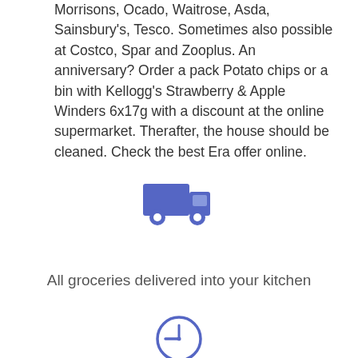Morrisons, Ocado, Waitrose, Asda, Sainsbury's, Tesco. Sometimes also possible at Costco, Spar and Zooplus. An anniversary? Order a pack Potato chips or a bin with Kellogg's Strawberry & Apple Winders 6x17g with a discount at the online supermarket. Therafter, the house should be cleaned. Check the best Era offer online.
[Figure (illustration): A blue delivery truck icon (solid silhouette style)]
All groceries delivered into your kitchen
[Figure (illustration): A blue clock/time icon (circle outline with clock hands showing approximately 9 o'clock)]